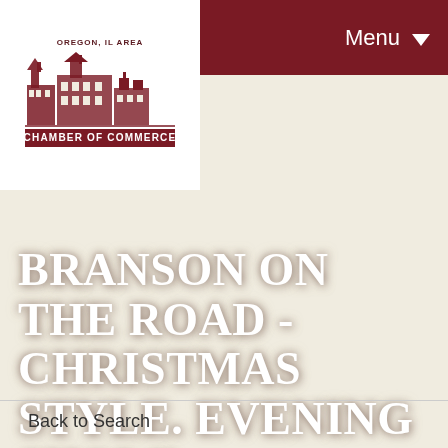[Figure (logo): Oregon, IL Area Chamber of Commerce logo — building illustration with text 'OREGON, IL AREA' above and 'CHAMBER OF COMMERCE' on a dark red bar below]
Menu
BRANSON ON THE ROAD -CHRISTMAS STYLE. EVENING SHOW!
Back to Search